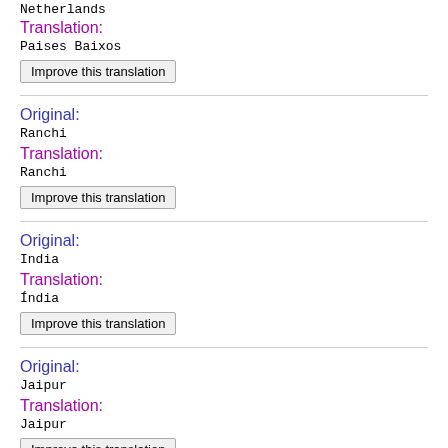Netherlands
Translation:
Paises Baixos
Improve this translation
Original:
Ranchi
Translation:
Ranchi
Improve this translation
Original:
India
Translation:
Índia
Improve this translation
Original:
Jaipur
Translation:
Jaipur
Improve this translation